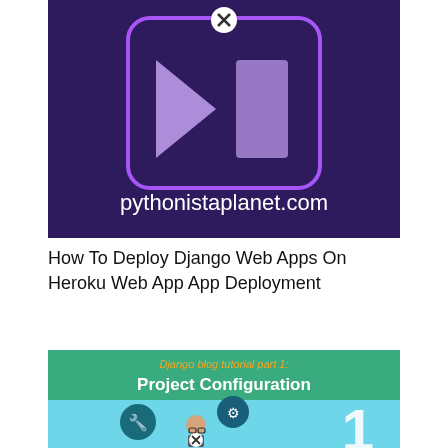[Figure (screenshot): Dark purple background with a rounded square icon showing triangular play-like shapes in purple/lavender, with the text 'pythonistaplanet.com' in white below it. A close (X) button circle appears at top-center.]
How To Deploy Django Web Apps On Heroku Web App App Deployment
[Figure (infographic): Green header banner reading 'Django blog tutorial part 1:' in orange/yellow and 'Project Configuration' in large white text. Below is a light blue section with illustrated icons: a teal circle with a wrench/hammer icon, a teal circle with a gear icon, and a stylized person wearing glasses with a close (X) button overlaid. A large white '1' appears at the right.]